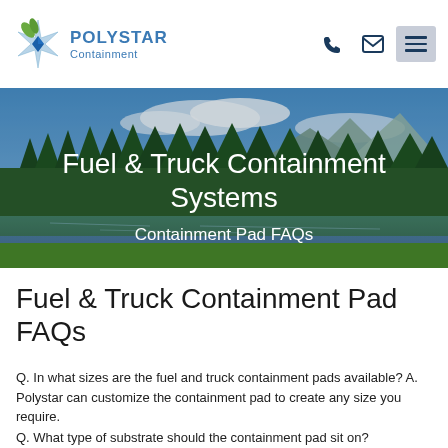Polystar Containment logo with navigation icons (phone, email, menu)
[Figure (photo): Scenic landscape with pine forest, lake reflection, mountains and blue sky used as hero banner background with text overlay]
Fuel & Truck Containment Systems
Containment Pad FAQs
Fuel & Truck Containment Pad FAQs
Q. In what sizes are the fuel and truck containment pads available?
A. Polystar can customize the containment pad to create any size you require.
Q. What type of substrate should the containment pad sit on?